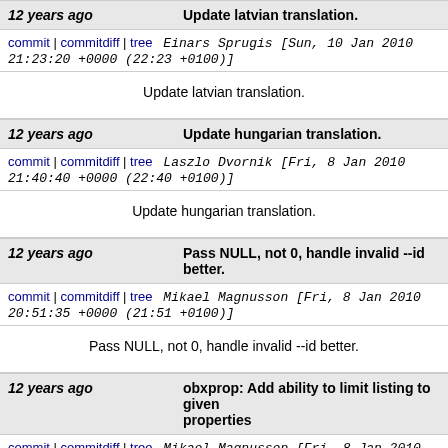12 years ago   Update latvian translation.
commit | commitdiff | tree   Einars Sprugis [Sun, 10 Jan 2010 21:23:20 +0000 (22:23 +0100)]
Update latvian translation.
12 years ago   Update hungarian translation.
commit | commitdiff | tree   Laszlo Dvornik [Fri, 8 Jan 2010 21:40:40 +0000 (22:40 +0100)]
Update hungarian translation.
12 years ago   Pass NULL, not 0, handle invalid --id better.
commit | commitdiff | tree   Mikael Magnusson [Fri, 8 Jan 2010 20:51:35 +0000 (21:51 +0100)]
Pass NULL, not 0, handle invalid --id better.
12 years ago   obxprop: Add ability to limit listing to given properties
commit | commitdiff | tree   Mikael Magnusson [Fri, 8 Jan 2010 20:51:04 +0000 (21:51 +0100)]
obxprop: Add ability to limit listing to given propert…